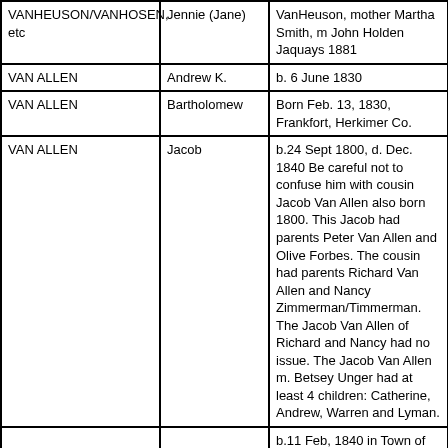| Surname | First Name | Details | Link |
| --- | --- | --- | --- |
| VANHEUSON/VANHOSEN, etc | Jennie (Jane) | VanHeuson, mother Martha Smith, m John Holden Jaquays 1881 | P |
| VAN ALLEN | Andrew K. | b. 6 June 1830 | p |
| VAN ALLEN | Bartholomew | Born Feb. 13, 1830, Frankfort, Herkimer Co. | P |
| VAN ALLEN | Jacob | b.24 Sept 1800, d. Dec. 1840 Be careful not to confuse him with cousin Jacob Van Allen also born 1800. This Jacob had parents Peter Van Allen and Olive Forbes. The cousin had parents Richard Van Allen and Nancy Zimmerman/Timmerman. The Jacob Van Allen of Richard and Nancy had no issue. The Jacob Van Allen m. Betsey Unger had at least 4 children: Catherine, Andrew, Warren and Lyman. | J |
|  |  | b.11 Feb, 1840 in Town of St. Johnsville, d.5 Oct 1915 Jackson, Michigan, Civil War Soldier 141 Co. |  |